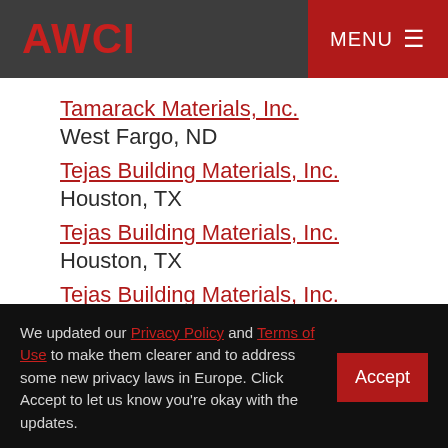AWCI | MENU
Tamarack Materials, Inc.
West Fargo, ND
Tejas Building Materials, Inc.
Houston, TX
Tejas Building Materials, Inc.
Houston, TX
Tejas Building Materials, Inc.
Spring, TX
We updated our Privacy Policy and Terms of Use to make them clearer and to address some new privacy laws in Europe. Click Accept to let us know you're okay with the updates.